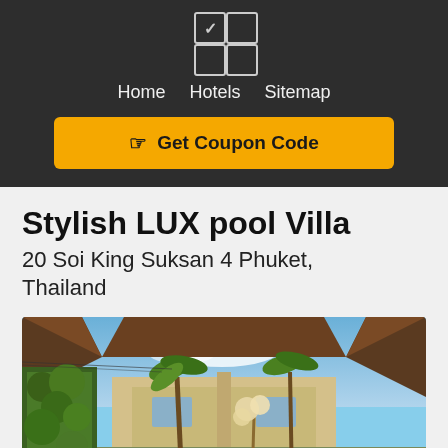[Figure (logo): App logo with four squares in 2x2 grid, top-left has checkmark]
Home  Hotels  Sitemap
Get Coupon Code
Stylish LUX pool Villa
20 Soi King Suksan 4 Phuket, Thailand
[Figure (photo): Exterior photo of a luxury villa with pool, tropical garden with palm trees and lush green hedges, courtyard view looking up at sky, traditional Thai-style roof architecture]